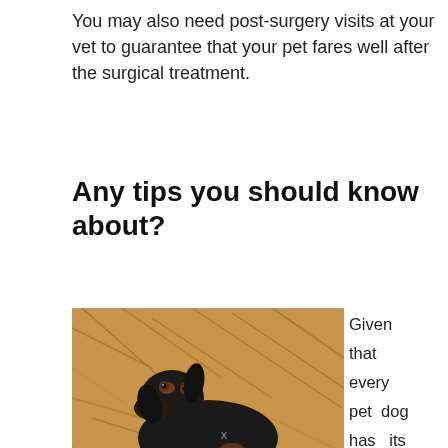You may also need post-surgery visits at your vet to guarantee that your pet fares well after the surgical treatment.
Any tips you should know about?
[Figure (photo): A black and tan dachshund dog lying on dry brown straw/grass, looking at the camera.]
Given that every pet dog has its unique
x